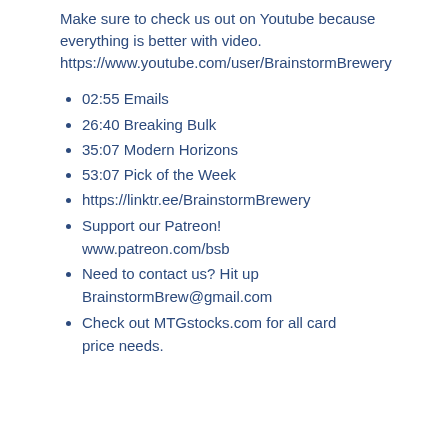Make sure to check us out on Youtube because everything is better with video. https://www.youtube.com/user/BrainstormBrewery
02:55 Emails
26:40 Breaking Bulk
35:07 Modern Horizons
53:07 Pick of the Week
https://linktr.ee/BrainstormBrewery
Support our Patreon! www.patreon.com/bsb
Need to contact us? Hit up BrainstormBrew@gmail.com
Check out MTGstocks.com for all card price needs.